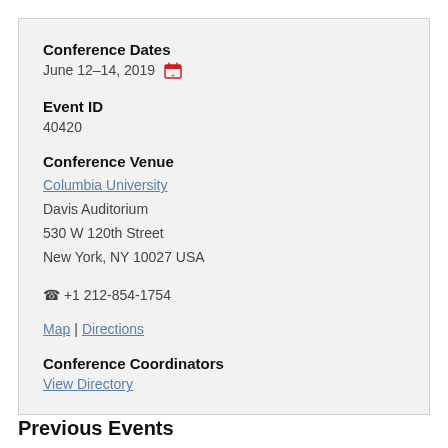Conference Dates
June 12–14, 2019
Event ID
40420
Conference Venue
Columbia University
Davis Auditorium
530 W 120th Street
New York, NY 10027 USA
+1 212-854-1754
Map | Directions
Conference Coordinators
View Directory
Previous Events